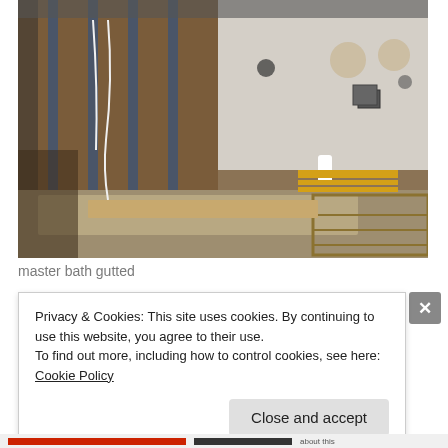[Figure (photo): Interior of a bathroom under renovation showing gutted walls with exposed metal studs and brown insulation board, concrete/plywood subfloor, PVC pipes and plumbing rough-in visible along the right wall, electrical wiring, and no finished surfaces.]
master bath gutted
Privacy & Cookies: This site uses cookies. By continuing to use this website, you agree to their use.
To find out more, including how to control cookies, see here: Cookie Policy